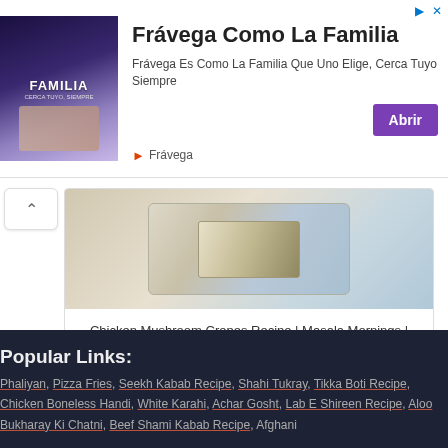[Figure (screenshot): Advertisement banner for Frávega Como La Familia with team photo, title text, subtitle, Abrir button, and Frávega brand logo]
[Figure (photo): Partial view of a food dish in a container, top of recipe card image]
Chicken Mushroom Crepes Recipe | Masala Mornings | Masala TV | Shireen Anwar | Fast Food
Popular Links:
Phaliyan, Pizza Fries, Seekh Kabab Recipe, Shahi Tukray, Tikka Boti Recipe, Chicken Boneless Handi, White Karahi, Achar Gosht, Lab E Shireen Recipe, Aloo Bukharay Ki Chatni, Beef Shami Kabab Recipe, Afghani